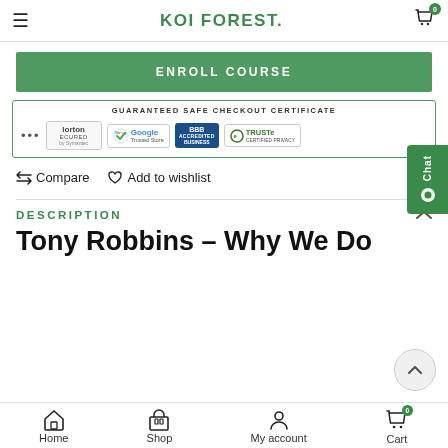KOI FOREST.
ENROLL COURSE
[Figure (infographic): Guaranteed Safe Checkout Certificate banner with Norton Secured by Symantec, Google Trusted Store, BBB Accredited Business, and TRUSTe Certified Privacy badges]
Compare   Add to wishlist
DESCRIPTION
Tony Robbins – Why We Do
Home   Shop   My account   Cart